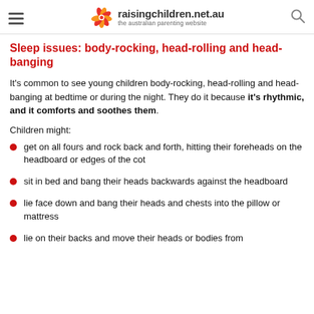raisingchildren.net.au — the australian parenting website
Sleep issues: body-rocking, head-rolling and head-banging
It's common to see young children body-rocking, head-rolling and head-banging at bedtime or during the night. They do it because it's rhythmic, and it comforts and soothes them.
Children might:
get on all fours and rock back and forth, hitting their foreheads on the headboard or edges of the cot
sit in bed and bang their heads backwards against the headboard
lie face down and bang their heads and chests into the pillow or mattress
lie on their backs and move their heads or bodies from